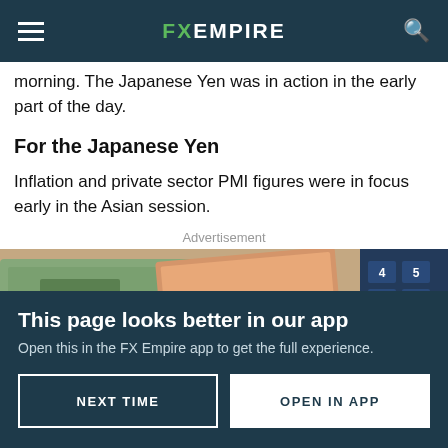FX EMPIRE
morning. The Japanese Yen was in action in the early part of the day.
For the Japanese Yen
Inflation and private sector PMI figures were in focus early in the Asian session.
Advertisement
[Figure (photo): Close-up photo of currency banknotes including US dollars and Canadian dollars, with a calculator keyboard visible on the right side.]
This page looks better in our app
Open this in the FX Empire app to get the full experience.
NEXT TIME   OPEN IN APP